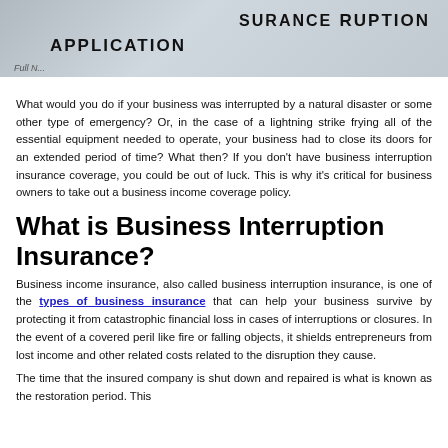[Figure (photo): Photo of a business interruption insurance application form, showing partial text 'INSURANCE', 'DISRUPTION', 'APPLICATION', and 'Full N...' label at the bottom left.]
What would you do if your business was interrupted by a natural disaster or some other type of emergency? Or, in the case of a lightning strike frying all of the essential equipment needed to operate, your business had to close its doors for an extended period of time? What then? If you don't have business interruption insurance coverage, you could be out of luck. This is why it's critical for business owners to take out a business income coverage policy.
What is Business Interruption Insurance?
Business income insurance, also called business interruption insurance, is one of the types of business insurance that can help your business survive by protecting it from catastrophic financial loss in cases of interruptions or closures. In the event of a covered peril like fire or falling objects, it shields entrepreneurs from lost income and other related costs related to the disruption they cause.
The time that the insured company is shut down and repaired is what is known as the restoration period. This